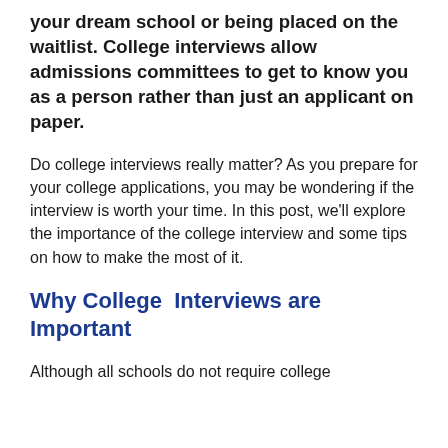your dream school or being placed on the waitlist. College interviews allow admissions committees to get to know you as a person rather than just an applicant on paper.
Do college interviews really matter? As you prepare for your college applications, you may be wondering if the interview is worth your time. In this post, we'll explore the importance of the college interview and some tips on how to make the most of it.
Why College  Interviews are Important
Although all schools do not require college